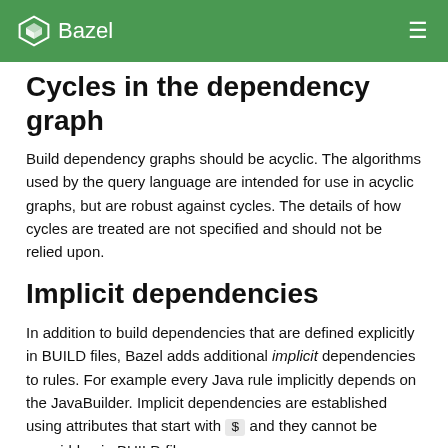Bazel
Cycles in the dependency graph
Build dependency graphs should be acyclic. The algorithms used by the query language are intended for use in acyclic graphs, but are robust against cycles. The details of how cycles are treated are not specified and should not be relied upon.
Implicit dependencies
In addition to build dependencies that are defined explicitly in BUILD files, Bazel adds additional implicit dependencies to rules. For example every Java rule implicitly depends on the JavaBuilder. Implicit dependencies are established using attributes that start with $ and they cannot be overridden in BUILD files.
Per default bazel query takes implicit dependencies into account when computing the query result. This behavior can